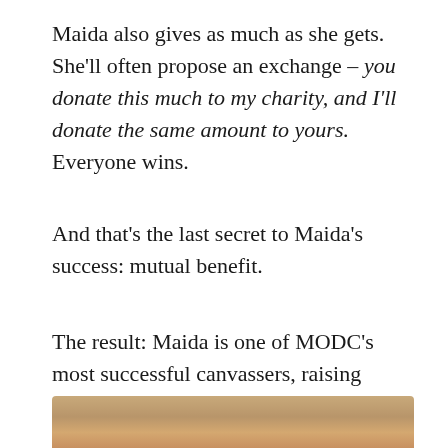Maida also gives as much as she gets. She'll often propose an exchange – you donate this much to my charity, and I'll donate the same amount to yours. Everyone wins.
And that's the last secret to Maida's success: mutual benefit.
The result: Maida is one of MODC's most successful canvassers, raising about $1,500 every year for a total of nearly $12,000 since 2002. She's the first to acknowledge that it's hard work, but also that it's worth it.
[Figure (photo): Partial photo visible at bottom of page, showing warm golden-brown tones, appears to be a person]